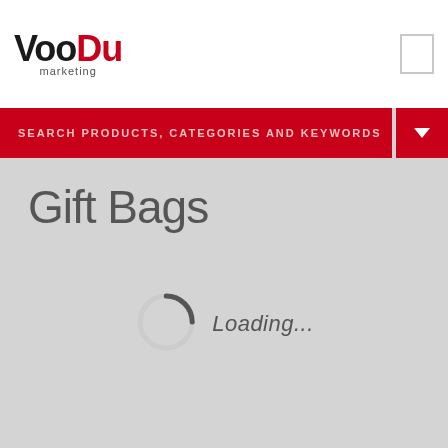VooDu marketing
SEARCH PRODUCTS, CATEGORIES AND KEYWORDS
Gift Bags
[Figure (other): Loading spinner circle with a dark segment at top-left, indicating page content is loading]
Loading...